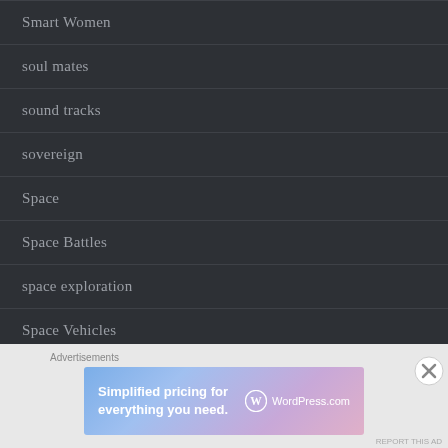Smart Women
soul mates
sound tracks
sovereign
Space
Space Battles
space exploration
Space Vehicles
Special Needs
Advertisements
[Figure (infographic): WordPress.com advertisement banner: 'Simplified pricing for everything you need.' with WordPress.com logo on a blue-pink gradient background]